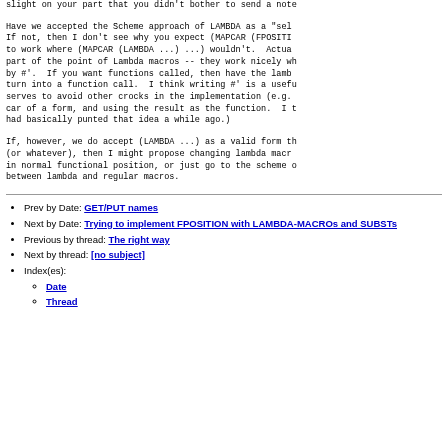slight on your part that you didn't bother to send a note
Have we accepted the Scheme approach of LAMBDA as a "sel
If not, then I don't see why you expect (MAPCAR (FPOSITI
to work where (MAPCAR (LAMBDA ...) ...) wouldn't. Actua
part of the point of Lambda macros -- they work nicely wh
by #'. If you want functions called, then have the lamb
turn into a function call. I think writing #' is a usefu
serves to avoid other crocks in the implementation (e.g.
car of a form, and using the result as the function. I t
had basically punted that idea a while ago.)
If, however, we do accept (LAMBDA ...) as a valid form th
(or whatever), then I might propose changing lambda macr
in normal functional position, or just go to the scheme 
between lambda and regular macros.
Prev by Date: GET/PUT names
Next by Date: Trying to implement FPOSITION with LAMBDA-MACROs and SUBSTs
Previous by thread: The right way
Next by thread: [no subject]
Index(es): Date, Thread